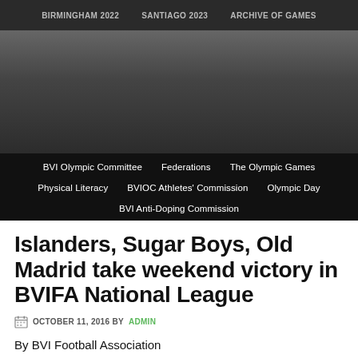BIRMINGHAM 2022 | SANTIAGO 2023 | ARCHIVE OF GAMES
[Figure (photo): Dark banner/header image area for BVI Olympic Committee website]
BVI Olympic Committee | Federations | The Olympic Games | Physical Literacy | BVIOC Athletes' Commission | Olympic Day | BVI Anti-Doping Commission
Islanders, Sugar Boys, Old Madrid take weekend victory in BVIFA National League
OCTOBER 11, 2016 BY ADMIN
By BVI Football Association